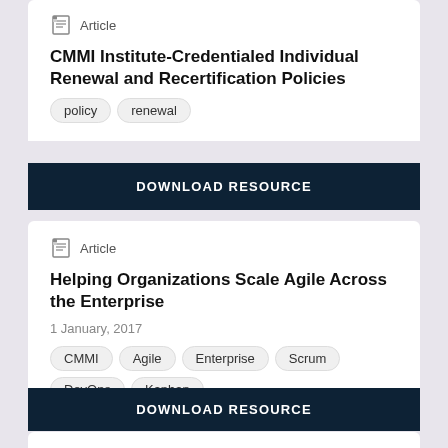Article
CMMI Institute-Credentialed Individual Renewal and Recertification Policies
policy
renewal
DOWNLOAD RESOURCE
Article
Helping Organizations Scale Agile Across the Enterprise
1 January, 2017
CMMI
Agile
Enterprise
Scrum
DevOps
Kanban
DOWNLOAD RESOURCE
Article